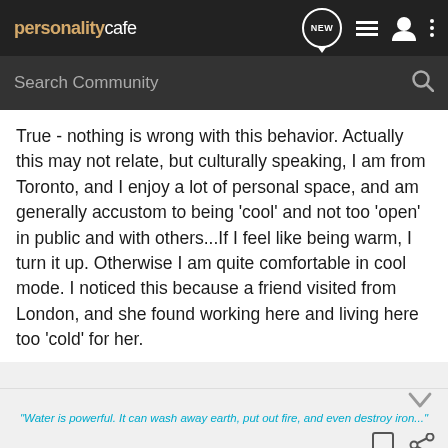personality cafe | NEW | menu | user | more
Search Community
True - nothing is wrong with this behavior. Actually this may not relate, but culturally speaking, I am from Toronto, and I enjoy a lot of personal space, and am generally accustom to being 'cool' and not too 'open' in public and with others...If I feel like being warm, I turn it up. Otherwise I am quite comfortable in cool mode. I noticed this because a friend visited from London, and she found working here and living here too 'cold' for her.
"Water is powerful. It can wash away earth, put out fire, and even destroy iron..."